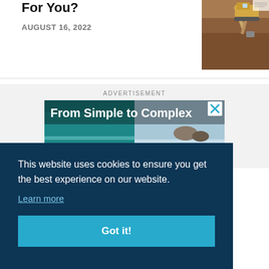For You?
AUGUST 16, 2022
[Figure (photo): Thumbnail image of construction site with excavator digging dirt]
[Figure (screenshot): Advertisement banner reading 'From Simple to Complex' with swimming pool imagery and close button]
ADVERTISEMENT
This website uses cookies to ensure you get the best experience on our website.
Learn more
Got it!